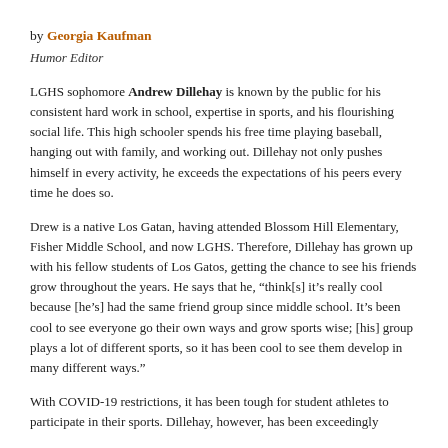by Georgia Kaufman
Humor Editor
LGHS sophomore Andrew Dillehay is known by the public for his consistent hard work in school, expertise in sports, and his flourishing social life. This high schooler spends his free time playing baseball, hanging out with family, and working out. Dillehay not only pushes himself in every activity, he exceeds the expectations of his peers every time he does so.
Drew is a native Los Gatan, having attended Blossom Hill Elementary, Fisher Middle School, and now LGHS. Therefore, Dillehay has grown up with his fellow students of Los Gatos, getting the chance to see his friends grow throughout the years. He says that he, “think[s] it’s really cool because [he’s] had the same friend group since middle school. It’s been cool to see everyone go their own ways and grow sports wise; [his] group plays a lot of different sports, so it has been cool to see them develop in many different ways.”
With COVID-19 restrictions, it has been tough for student athletes to participate in their sports. Dillehay, however, has been exceedingly